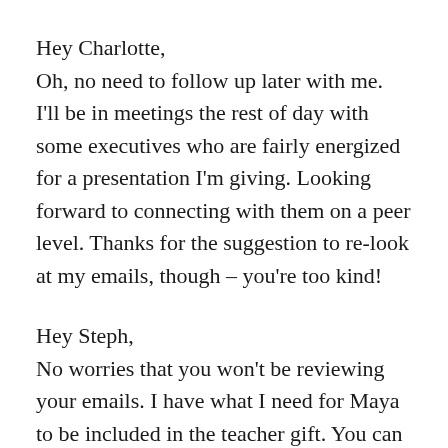Hey Charlotte,
Oh, no need to follow up later with me. I'll be in meetings the rest of day with some executives who are fairly energized for a presentation I'm giving. Looking forward to connecting with them on a peer level. Thanks for the suggestion to re-look at my emails, though – you're too kind!
Hey Steph,
No worries that you won't be reviewing your emails. I have what I need for Maya to be included in the teacher gift. You can stay focused on your work away from home, and I'll